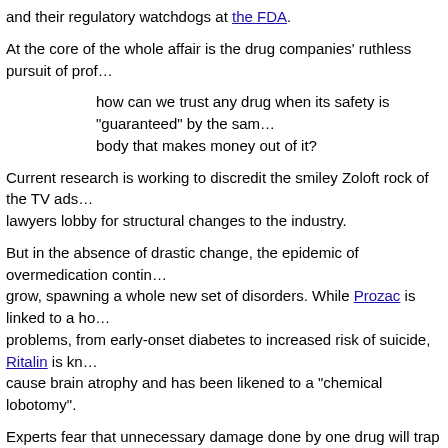and their regulatory watchdogs at the FDA.
At the core of the whole affair is the drug companies' ruthless pursuit of prof...
how can we trust any drug when its safety is "guaranteed" by the same body that makes money out of it?
Current research is working to discredit the smiley Zoloft rock of the TV ads... lawyers lobby for structural changes to the industry.
But in the absence of drastic change, the epidemic of overmedication continues to grow, spawning a whole new set of disorders. While Prozac is linked to a host of problems, from early-onset diabetes to increased risk of suicide, Ritalin is known to cause brain atrophy and has been likened to a "chemical lobotomy".
Experts fear that unnecessary damage done by one drug will trap patients in a chemical imbalance and further drug dependency:
"Because they fidgeted in school, they're going to end up on antipsychotics."
In this era of mercenary medication, are we forgetting what it is to be human...
One expert sums it up:
"Kids are kids."
Just a few decades ago, it was accepted that kids sometimes get sad; kids sometimes get restless.